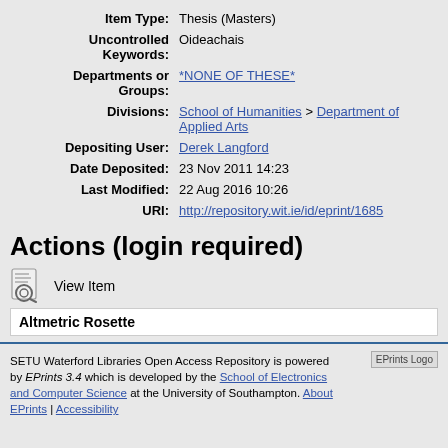| Field | Value |
| --- | --- |
| Item Type: | Thesis (Masters) |
| Uncontrolled Keywords: | Oideachais |
| Departments or Groups: | *NONE OF THESE* |
| Divisions: | School of Humanities > Department of Applied Arts |
| Depositing User: | Derek Langford |
| Date Deposited: | 23 Nov 2011 14:23 |
| Last Modified: | 22 Aug 2016 10:26 |
| URI: | http://repository.wit.ie/id/eprint/1685 |
Actions (login required)
View Item
Altmetric Rosette
SETU Waterford Libraries Open Access Repository is powered by EPrints 3.4 which is developed by the School of Electronics and Computer Science at the University of Southampton. About EPrints | Accessibility